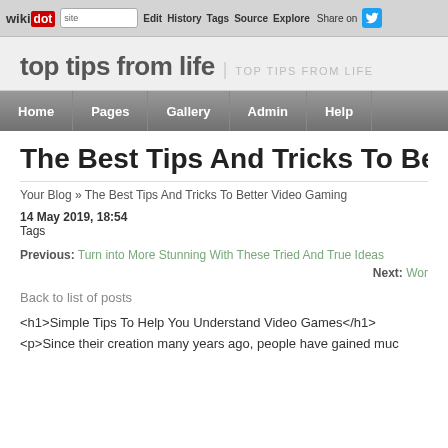wikidot | site Edit History Tags Source Explore Share on [Twitter]
top tips from life | TOP TIPS FROM LIFE
Home | Pages | Gallery | Admin | Help
The Best Tips And Tricks To Better Video Gaming
Your Blog » The Best Tips And Tricks To Better Video Gaming
14 May 2019, 18:54
Tags
Previous: Turn into More Stunning With These Tried And True Ideas
Next: Wor
Back to list of posts
<h1>Simple Tips To Help You Understand Video Games</h1>
<p>Since their creation many years ago, people have gained much entertaining and since nt video gaming experience i